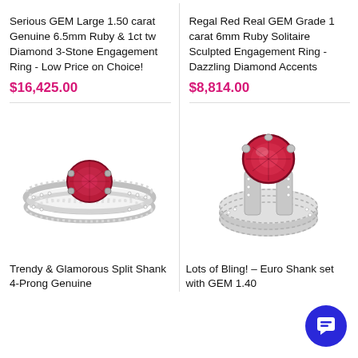Serious GEM Large 1.50 carat Genuine 6.5mm Ruby & 1ct tw Diamond 3-Stone Engagement Ring - Low Price on Choice!
$16,425.00
Regal Red Real GEM Grade 1 carat 6mm Ruby Solitaire Sculpted Engagement Ring - Dazzling Diamond Accents
$8,814.00
[Figure (photo): Trendy glamorous split shank 4-prong ruby engagement ring with white gold band set with small diamonds]
[Figure (photo): Euro shank ruby engagement ring with large round ruby center stone and diamond-paved band]
Trendy & Glamorous Split Shank 4-Prong Genuine
Lots of Bling! - Euro Shank set with GEM 1.40